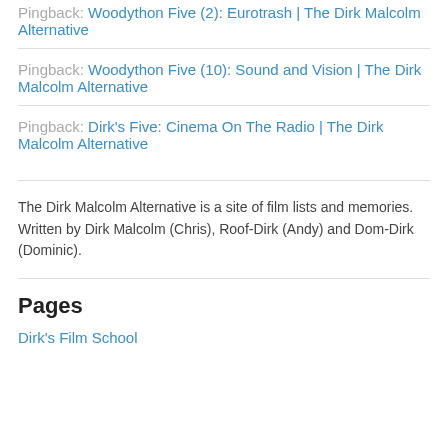Pingback: Woodython Five (2): Eurotrash | The Dirk Malcolm Alternative
Pingback: Woodython Five (10): Sound and Vision | The Dirk Malcolm Alternative
Pingback: Dirk's Five: Cinema On The Radio | The Dirk Malcolm Alternative
The Dirk Malcolm Alternative is a site of film lists and memories. Written by Dirk Malcolm (Chris), Roof-Dirk (Andy) and Dom-Dirk (Dominic).
Pages
Dirk's Film School